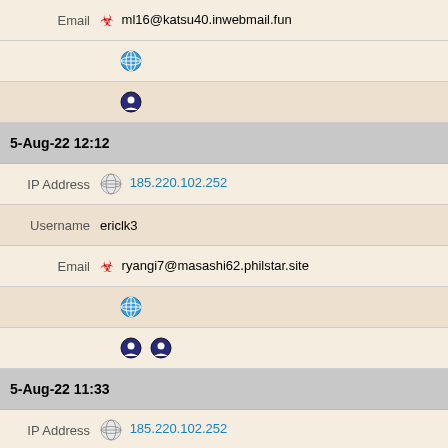Email ml16@katsu40.inwebmail.fun
(globe icon row)
(badge icon row)
5-Aug-22 12:12
IP Address 185.220.102.252
Username ericlk3
Email ryangi7@masashi62.philstar.site
(globe icon row)
(badge icons row)
5-Aug-22 11:33
IP Address 185.220.102.252
Username rogeret4
Email rn60@akihiro6710.hiraku95.officemail.in.net
(globe icon row)
(badge icon row)
4-Aug-22 20:52
IP Address 185.220.102.252